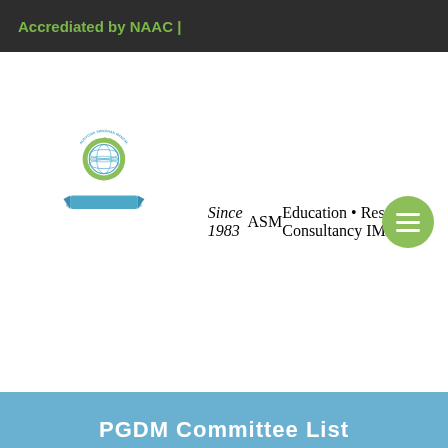Accrediated by NAAC |
[Figure (logo): ASM IMCOST logo featuring a gear with globe, text 'AUDYOGIK SHIKSHAN MANDAL' arched around gear, banner 'Since 1983', large letters 'ASM', tagline 'Education • Research • Consultancy', and 'IMCOST' in olive green]
PGDM Committee List